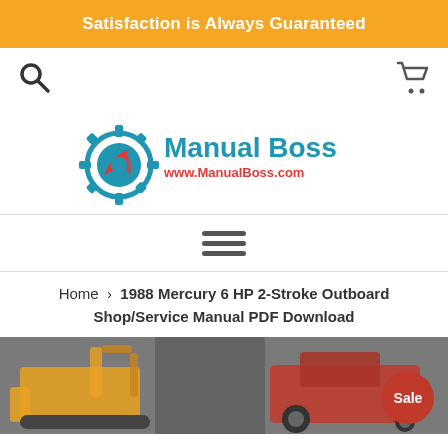Satisfaction is Always Guaranteed
[Figure (logo): Manual Boss logo with gear/wrench icon, blue text 'Manual Boss' and red URL 'www.ManualBoss.com']
Home › 1988 Mercury 6 HP 2-Stroke Outboard Shop/Service Manual PDF Download
[Figure (photo): Product page hero image showing a JCB backhoe loader on the left and a red Massey Ferguson tractor on the right, in grayscale with colored machinery, with a red 'Sale' badge circle in the bottom-right corner]